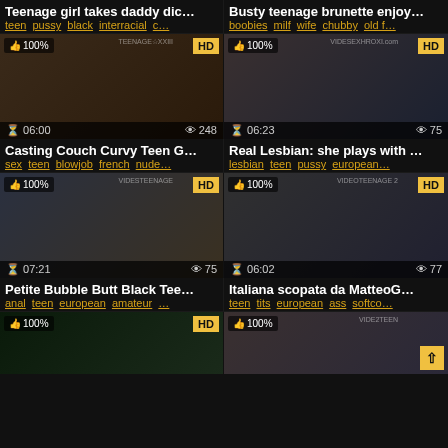Teenage girl takes daddy dic… | teen pussy black interracial c…
Busty teenage brunette enjoy… | boobies milf wife chubby old f…
[Figure (photo): Video thumbnail with 100% like badge, HD badge, 06:00 duration, 248 views]
[Figure (photo): Video thumbnail with 100% like badge, HD badge, 06:23 duration, 75 views]
Casting Couch Curvy Teen G… | sex teen blowjob french nude…
Real Lesbian: she plays with … | lesbian teen pussy european…
[Figure (photo): Video thumbnail with 100% like badge, HD badge, 07:21 duration, 75 views]
[Figure (photo): Video thumbnail with 100% like badge, HD badge, 06:02 duration, 77 views]
Petite Bubble Butt Black Tee… | anal teen european amateur …
Italiana scopata da MatteoG… | teen tits european ass softco…
[Figure (photo): Partial video thumbnail with 100% like badge, HD badge]
[Figure (photo): Partial video thumbnail with 100% like badge, scroll-to-top button]